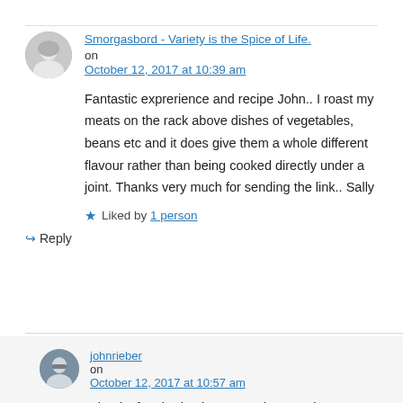Smorgasbord - Variety is the Spice of Life. on October 12, 2017 at 10:39 am
Fantastic exprerience and recipe John.. I roast my meats on the rack above dishes of vegetables, beans etc and it does give them a whole different flavour rather than being cooked directly under a joint. Thanks very much for sending the link.. Sally
Liked by 1 person
↪ Reply
johnrieber on October 12, 2017 at 10:57 am
Thanks for sharing it – agree that veggies.